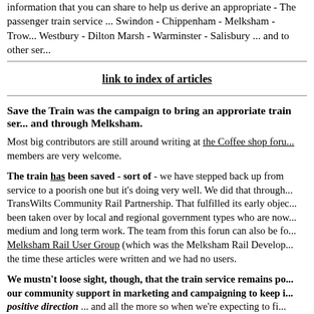information that you can share to help us derive an appropriate - The passenger train service ... Swindon - Chippenham - Melksham - Trow... Westbury - Dilton Marsh - Warminster - Salisbury ... and to other ser...
link to index of articles
Save the Train was the campaign to bring an approriate train ser... and through Melksham.
Most big contributors are still around writing at the Coffee shop foru... members are very welcome.
The train has been saved - sort of - we have stepped back up from service to a poorish one but it's doing very well. We did that through... TransWilts Community Rail Partnership. That fulfilled its early objec... been taken over by local and regional government types who are now... medium and long term work. The team from this forun can also be fo... Melksham Rail User Group (which was the Melksham Rail Develop... the time these articles were written and we had no users.
We mustn't loose sight, though, that the train service remains po... our community support in marketing and campaigning to keep i... positive direction ... and all the more so when we're expecting to fi...